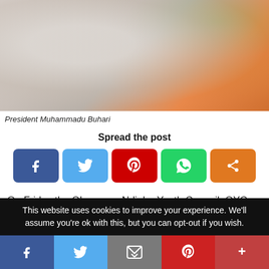[Figure (photo): Close-up photo of President Muhammadu Buhari, blurred background with orange and green tones]
President Muhammadu Buhari
Spread the post
[Figure (infographic): Social share buttons: Facebook (dark blue), Twitter (light blue), Pinterest (red), WhatsApp (green), Share (orange)]
On Friday the Ohanaeze Ndigbo Youth Council, OYC, Worldwide, has advised President Muhammadu Buhari to reopen the country's borders with neighbouring countries
This website uses cookies to improve your experience. We'll assume you're ok with this, but you can opt-out if you wish.
[Figure (infographic): Bottom navigation bar with Facebook, Twitter, Email, Pinterest, and More share buttons]